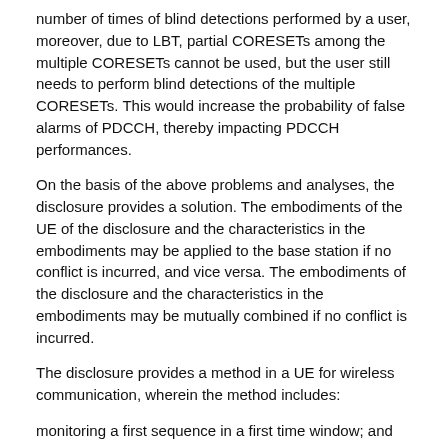number of times of blind detections performed by a user, moreover, due to LBT, partial CORESETs among the multiple CORESETs cannot be used, but the user still needs to perform blind detections of the multiple CORESETs. This would increase the probability of false alarms of PDCCH, thereby impacting PDCCH performances.
On the basis of the above problems and analyses, the disclosure provides a solution. The embodiments of the UE of the disclosure and the characteristics in the embodiments may be applied to the base station if no conflict is incurred, and vice versa. The embodiments of the disclosure and the characteristics in the embodiments may be mutually combined if no conflict is incurred.
The disclosure provides a method in a UE for wireless communication, wherein the method includes:
monitoring a first sequence in a first time window; and
if the first sequence is detected in the first time window, performing a blind detection of a first signaling on K1 alternative Resource Element (RE) set(s).